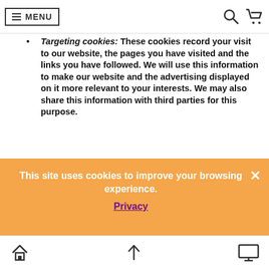MENU [navigation bar with search and cart icons]
Targeting cookies: These cookies record your visit to our website, the pages you have visited and the links you have followed. We will use this information to make our website and the advertising displayed on it more relevant to your interests. We may also share this information with third parties for this purpose.
Please note that third parties (including, for example, advertising networks and providers of external services like web traffic analysis services) may also use
This site uses cookies to improve your browsing experience.
Privacy
[home icon] [up arrow icon] [monitor icon]